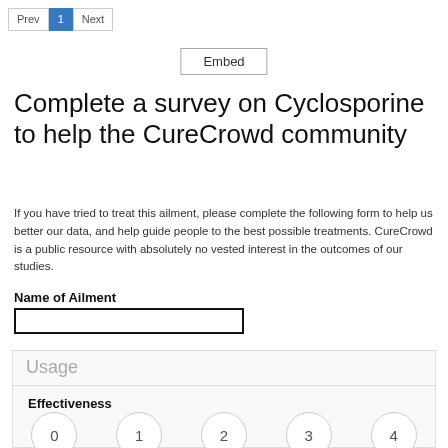Prev 1 Next
Embed
Complete a survey on Cyclosporine to help the CureCrowd community
If you have tried to treat this ailment, please complete the following form to help us better our data, and help guide people to the best possible treatments. CureCrowd is a public resource with absolutely no vested interest in the outcomes of our studies.
Name of Ailment
Usage
Effectiveness
0 1 2 3 4